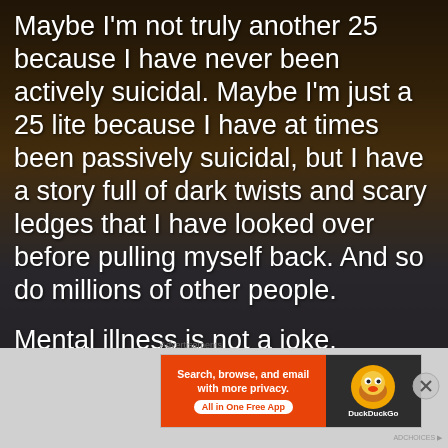[Figure (photo): Dark dramatic sky with clouds, warm amber/orange tones in background, dark blue tones in lower portion, silhouette of landscape]
Maybe I'm not truly another 25 because I have never been actively suicidal. Maybe I'm just a 25 lite because I have at times been passively suicidal, but I have a story full of dark twists and scary ledges that I have looked over before pulling myself back. And so do millions of other people.
Mental illness is not a joke. Depression is not mere sadness. They are serious and potentially fatal diseases that we need to talk about so that we can break the
[Figure (screenshot): DuckDuckGo advertisement banner: orange left side with text 'Search, browse, and email with more privacy. All in One Free App', dark right side with DuckDuckGo duck logo]